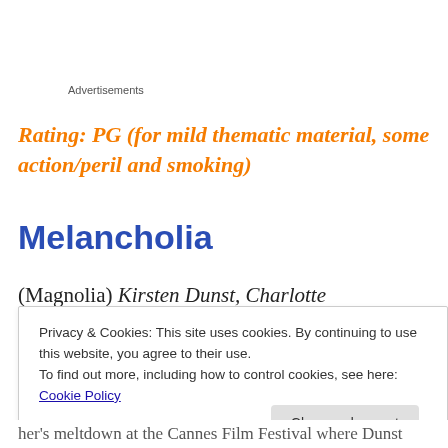Advertisements
Rating: PG (for mild thematic material, some action/peril and smoking)
Melancholia
(Magnolia) Kirsten Dunst, Charlotte Gainsbourg,
Privacy & Cookies: This site uses cookies. By continuing to use this website, you agree to their use.
To find out more, including how to control cookies, see here: Cookie Policy
Close and accept
her's meltdown at the Cannes Film Festival where Dunst